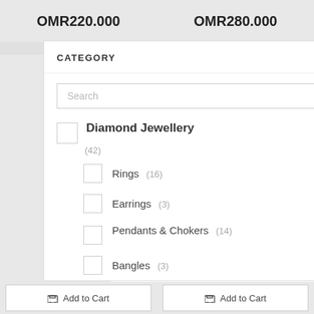OMR220.000
OMR280.000
Add to Cart
CATEGORY
Search
Diamond Jewellery (42)
Rings (16)
Earrings (3)
Pendants & Chokers (14)
Bangles (3)
[Figure (photo): Gold diamond earrings product photo - two teardrop-shaped gold earrings with diamond accents]
arrings - 3.28g / 0...
MR305.000
Add to Cart
Add to Cart